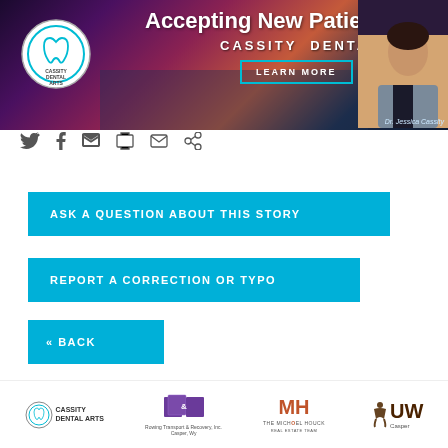[Figure (illustration): Cassity Dental Arts banner ad with 'Accepting New Patients' headline, logo, LEARN MORE button, and Dr. Jessica Cassity photo]
[Figure (infographic): Social media sharing icons: Twitter, Facebook, LinkedIn, Print, Email, Link]
ASK A QUESTION ABOUT THIS STORY
REPORT A CORRECTION OR TYPO
« BACK
[Figure (logo): Footer sponsor logos: Cassity Dental Arts, Rowing Transport & Recovery Inc. Casper WY, The Michael Houck Real Estate Team, UW Casper]